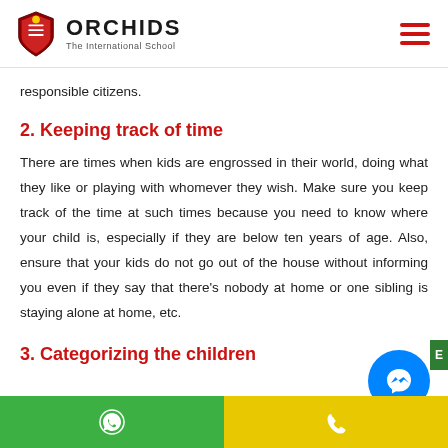ORCHIDS The International School
responsible citizens.
2. Keeping track of time
There are times when kids are engrossed in their world, doing what they like or playing with whomever they wish. Make sure you keep track of the time at such times because you need to know where your child is, especially if they are below ten years of age. Also, ensure that your kids do not go out of the house without informing you even if they say that there's nobody at home or one sibling is staying alone at home, etc.
3. Categorizing the children